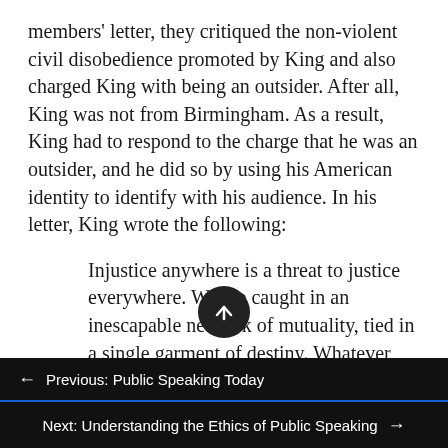members' letter, they critiqued the non-violent civil disobedience promoted by King and also charged King with being an outsider. After all, King was not from Birmingham. As a result, King had to respond to the charge that he was an outsider, and he did so by using his American identity to identify with his audience. In his letter, King wrote the following:
Injustice anywhere is a threat to justice everywhere. We are caught in an inescapable network of mutuality, tied in a single garment of destiny. Whatever affects one directly affects all indirectly.
← Previous: Public Speaking Today
Next: Understanding the Ethics of Public Speaking →